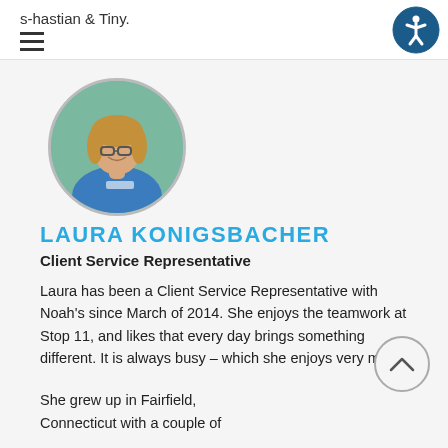s-bastian & Tiny.
[Figure (photo): Circular profile photo of Laura Konigsbacher wearing a blue uniform/scrubs, smiling, with plants in background.]
LAURA KONIGSBACHER
Client Service Representative
Laura has been a Client Service Representative with Noah's since March of 2014. She enjoys the teamwork at Stop 11, and likes that every day brings something different. It is always busy – which she enjoys very much.
She grew up in Fairfield, Connecticut with a couple of…